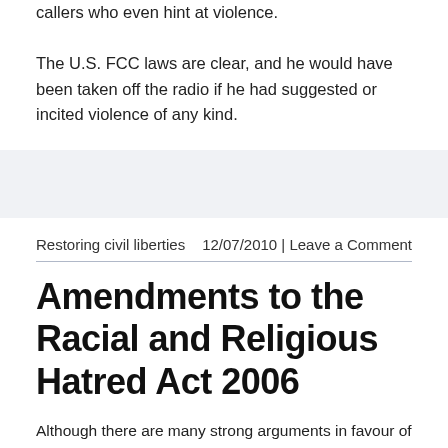callers who even hint at violence. The U.S. FCC laws are clear, and he would have been taken off the radio if he had suggested or incited violence of any kind.
Restoring civil liberties   12/07/2010 | Leave a Comment
Amendments to the Racial and Religious Hatred Act 2006
Although there are many strong arguments in favour of shielding the adherents of a religious ideology from hatred, these arguments should not extend to the protection of ideas that constitute that religious ideology. To do so would